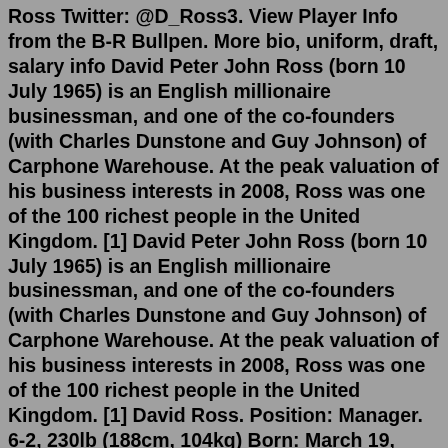Ross Twitter: @D_Ross3. View Player Info from the B-R Bullpen. More bio, uniform, draft, salary info David Peter John Ross (born 10 July 1965) is an English millionaire businessman, and one of the co-founders (with Charles Dunstone and Guy Johnson) of Carphone Warehouse. At the peak valuation of his business interests in 2008, Ross was one of the 100 richest people in the United Kingdom. [1] David Peter John Ross (born 10 July 1965) is an English millionaire businessman, and one of the co-founders (with Charles Dunstone and Guy Johnson) of Carphone Warehouse. At the peak valuation of his business interests in 2008, Ross was one of the 100 richest people in the United Kingdom. [1] David Ross. Position: Manager. 6-2, 230lb (188cm, 104kg) Born: March 19, 1977 in Bainbridge, GA us. High School: Florida HS (Tallahassee, FL) Schools: Auburn University (Auburn, AL), University of Florida (Gainesville, FL) Full Name: David Wade Ross Twitter: @D_Ross3. View Player Info from the B-R Bullpen. More bio, uniform, draft, salary info Aug 15